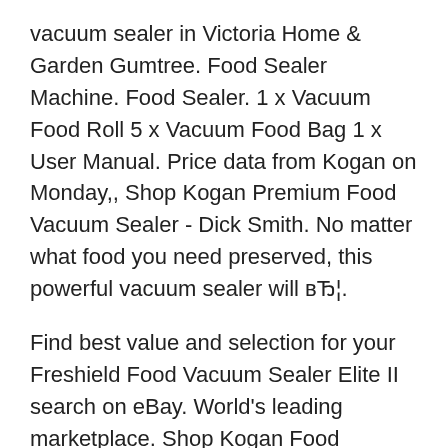vacuum sealer in Victoria Home & Garden Gumtree. Food Sealer Machine. Food Sealer. 1 x Vacuum Food Roll 5 x Vacuum Food Bag 1 x User Manual. Price data from Kogan on Monday,, Shop Kogan Premium Food Vacuum Sealer - Dick Smith. No matter what food you need preserved, this powerful vacuum sealer will вЂ¦.
Find best value and selection for your Freshield Food Vacuum Sealer Elite II search on eBay. World's leading marketplace. Shop Kogan Food Vacuum Sealer - Dick Smith. Vacuum seal your food with ease and retain all the freshness and flavour for longer. Vacuum seals refrigerated, dry and
Shop variety of vacuum sealer storage bags and rolls at foodsaver.com. Kogan 2-in-1 Food Vacuum Sealer with Kitchen Scale for sale on Trade Me, New Zealand's #1 auction and classifieds website. Satellite sites. Trade Me; LifeDirect;